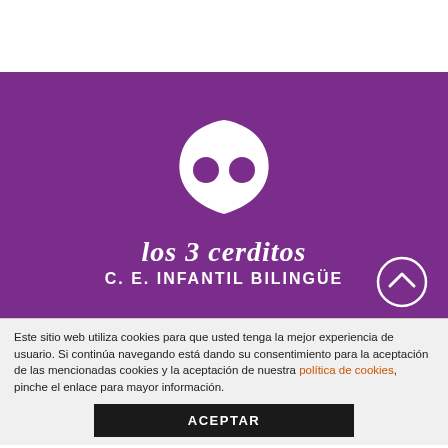[Figure (logo): Logo of Los 3 Cerditos C.E. Infantil Bilingüe: white pig snout icon on purple background, with handwritten-style brand name and subtitle in white text]
Este sitio web utiliza cookies para que usted tenga la mejor experiencia de usuario. Si continúa navegando está dando su consentimiento para la aceptación de las mencionadas cookies y la aceptación de nuestra política de cookies, pinche el enlace para mayor información.
ACEPTAR